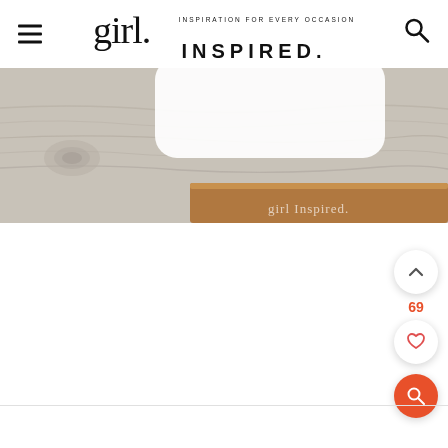girl. INSPIRATION FOR EVERY OCCASION INSPIRED.
[Figure (photo): Close-up photo of a white plate on a gray wood-grain surface with a brown wooden board/tray in the lower right. A watermark reads 'girl Inspired.' in cursive.]
[Figure (infographic): Three floating UI buttons on right side: an upward chevron arrow button (white circle with shadow), a count of 69 in orange/red, a heart icon button (white circle with shadow), and an orange search/magnify button.]